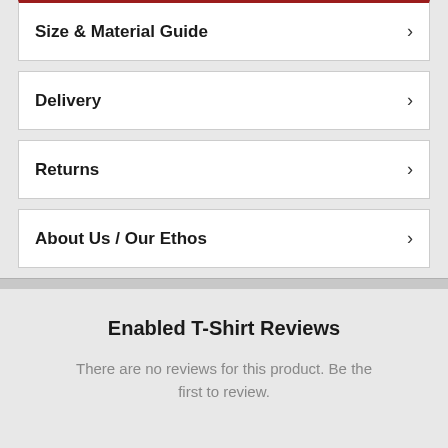Size & Material Guide
Delivery
Returns
About Us / Our Ethos
Enabled T-Shirt Reviews
There are no reviews for this product. Be the first to review.